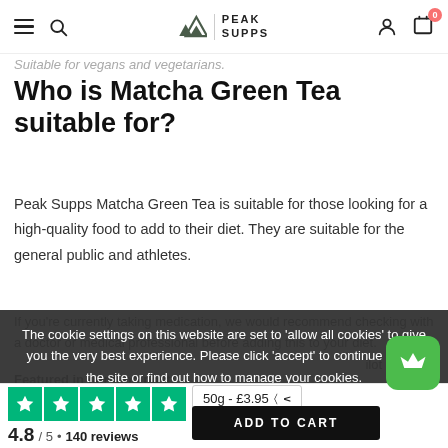Peak Supps navigation bar with hamburger menu, search, logo, account and cart icons
Suitable for vegans and vegetarians.
Who is Matcha Green Tea suitable for?
Peak Supps Matcha Green Tea is suitable for those looking for a high-quality food to add to their diet. They are suitable for the general public and athletes.
The cookie settings on this website are set to 'allow all cookies' to give you the very best experience. Please click 'accept' to continue to use the site or find out how to manage your cookies.
If you're currently taking medication, we would recommend checking with a doctor or medical professional before adding this to your diet.
Featured in our blog post:
4.8 / 5 • 140 reviews   50g - £3.95   ADD TO CART